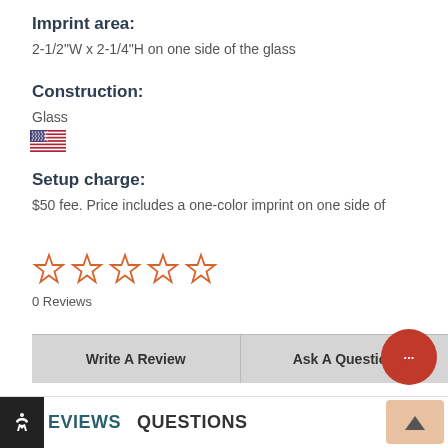Imprint area:
2-1/2"W x 2-1/4"H on one side of the glass
Construction:
Glass
[Figure (illustration): US flag icon]
Setup charge:
$50 fee. Price includes a one-color imprint on one side of
[Figure (other): 5 empty star rating icons, orange outline]
0 Reviews
Write A Review
Ask A Question
[Figure (other): Orange chat bubble icon with ellipsis]
EVIEWS  QUESTIONS